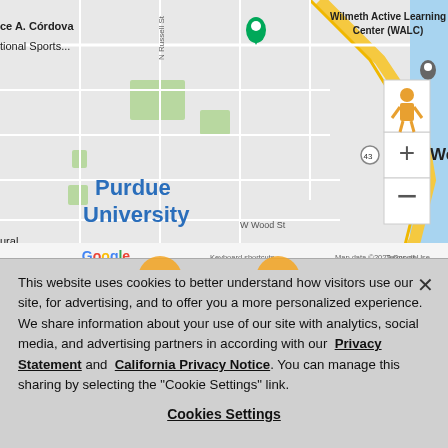[Figure (map): Google Maps screenshot showing Purdue University area in West Lafayette, Indiana. Shows streets including N Russell St and W Wood St, Wilmeth Active Learning Center (WALC), West Lafayette label with route marker 43, map controls (+/-), Google logo, and attribution text 'Keyboard shortcuts  Map data ©2022 Google  Terms of Use']
This website uses cookies to better understand how visitors use our site, for advertising, and to offer you a more personalized experience. We share information about your use of our site with analytics, social media, and advertising partners in according with our  Privacy Statement and  California Privacy Notice. You can manage this sharing by selecting the "Cookie Settings" link.
Cookies Settings